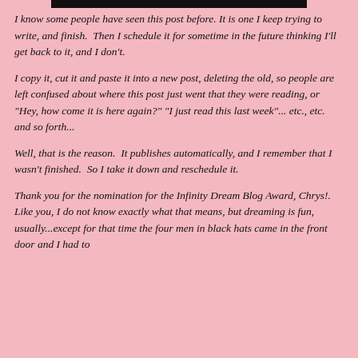I know some people have seen this post before. It is one I keep trying to write, and finish.  Then I schedule it for sometime in the future thinking I'll get back to it, and I don't.
I copy it, cut it and paste it into a new post, deleting the old, so people are left confused about where this post just went that they were reading, or "Hey, how come it is here again?" "I just read this last week"... etc., etc. and so forth...
Well, that is the reason.  It publishes automatically, and I remember that I wasn't finished.  So I take it down and reschedule it.
Thank you for the nomination for the Infinity Dream Blog Award, Chrys!.  Like you, I do not know exactly what that means, but dreaming is fun, usually...except for that time the four men in black hats came in the front door and I had to